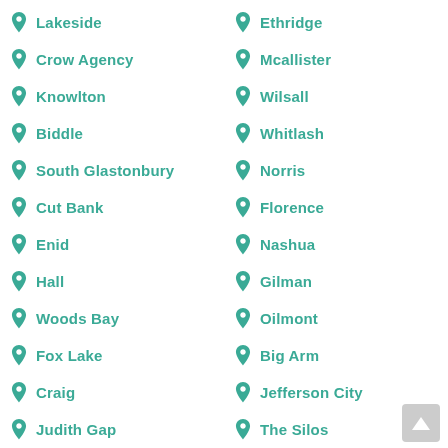Lakeside
Ethridge
Crow Agency
Mcallister
Knowlton
Wilsall
Biddle
Whitlash
South Glastonbury
Norris
Cut Bank
Florence
Enid
Nashua
Hall
Gilman
Woods Bay
Oilmont
Fox Lake
Big Arm
Craig
Jefferson City
Judith Gap
The Silos